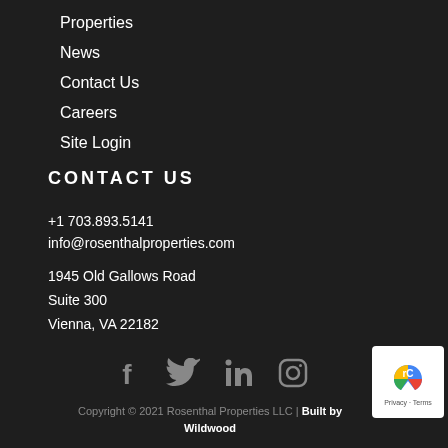Properties
News
Contact Us
Careers
Site Login
CONTACT US
+1 703.893.5141
info@rosenthalproperties.com
1945 Old Gallows Road
Suite 300
Vienna, VA 22182
[Figure (infographic): Social media icons: Facebook, Twitter, LinkedIn, Instagram]
Copyright © 2021 Rosenthal Properties LLC | Built by Wildwood